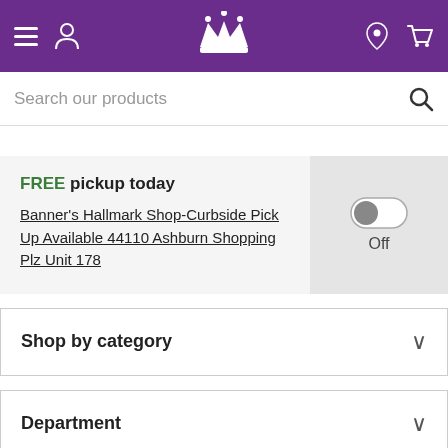[Figure (screenshot): Purple navigation bar with hamburger menu, user icon, crown logo, location pin, and cart icon in white on purple background]
Search our products
FREE pickup today
Banner's Hallmark Shop-Curbside Pick Up Available 44110 Ashburn Shopping Plz Unit 178
Off
Shop by category
Department
All Filters